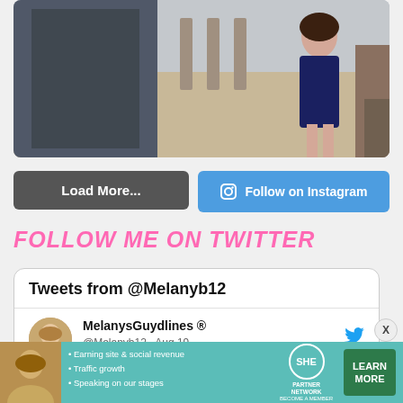[Figure (photo): Partial photo of a person in a navy dress standing in what appears to be a kitchen/outdoor area]
Load More...
Follow on Instagram
FOLLOW ME ON TWITTER
Tweets from @Melanyb12
MelanysGuydlines ® @Melanyb12 · Aug 19
Monsoon season. #Mosquito #azlife
5:21
[Figure (screenshot): SHE Partner Network advertisement banner with text: Earning site & social revenue, Traffic growth, Speaking on our stages. LEARN MORE button.]